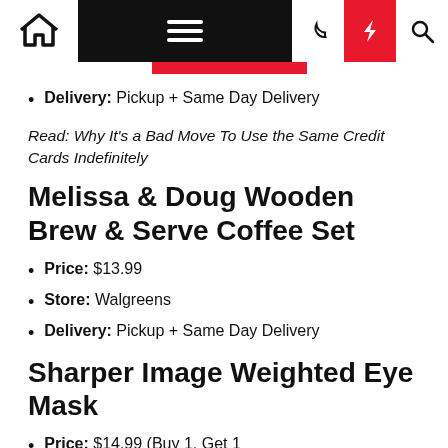Navigation bar with home, menu, moon, lightning, and search icons
Delivery: Pickup + Same Day Delivery
Read: Why It's a Bad Move To Use the Same Credit Cards Indefinitely
Melissa & Doug Wooden Brew & Serve Coffee Set
Price: $13.99
Store: Walgreens
Delivery: Pickup + Same Day Delivery
Sharper Image Weighted Eye Mask
Price: $14.99 (Buy 1, Get 1 50{0b665730f5e195e56f45088ce75c7e365…